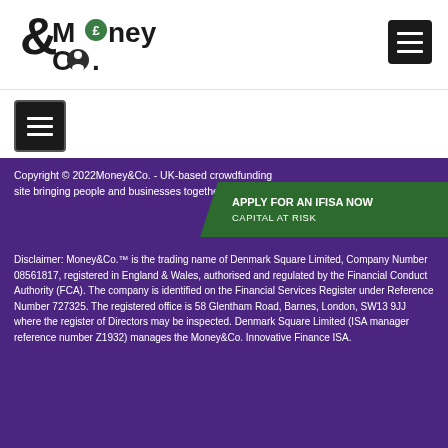[Figure (logo): Money&Co. logo with pound coin and person icon]
[Figure (other): Hamburger menu button (top right, dark background)]
[Figure (other): Mobile navigation hamburger button (left side, dark background with border)]
Copyright © 2022Money&Co. - UK-based crowdfunding site bringing people and businesses together.
APPLY FOR AN IFISA NOW
CAPITAL AT RISK
Disclaimer: Money&Co.™ is the trading name of Denmark Square Limited, Company Number 08561817, registered in England & Wales, authorised and regulated by the Financial Conduct Authority (FCA). The company is identified on the Financial Services Register under Reference Number 727325. The registered office is 58 Glentham Road, Barnes, London, SW13 9JJ where the register of Directors may be inspected. Denmark Square Limited (ISA manager reference number Z1932) manages the Money&Co. Innovative Finance ISA.